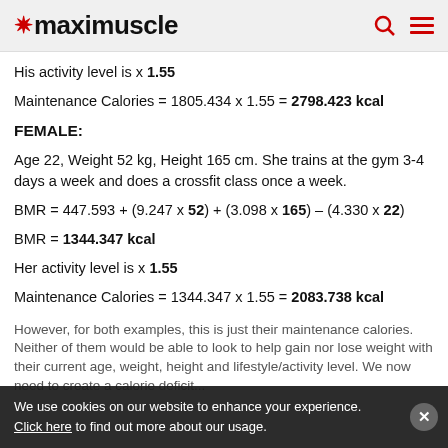maximuscle
His activity level is x 1.55
Maintenance Calories = 1805.434 x 1.55 = 2798.423 kcal
FEMALE:
Age 22, Weight 52 kg, Height 165 cm. She trains at the gym 3-4 days a week and does a crossfit class once a week.
BMR = 1344.347 kcal
Her activity level is x 1.55
Maintenance Calories = 1344.347 x 1.55 = 2083.738 kcal
However, for both examples, this is just their maintenance calories. Neither of them would be able to look to help gain nor lose weight with their current age, weight, height and lifestyle/activity level. We now need to create a calorie deficit...
We use cookies on our website to enhance your experience. Click here to find out more about our usage.